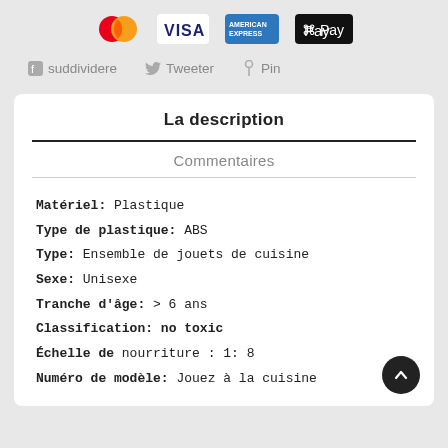[Figure (logo): Payment method logos: Mastercard, VISA, American Express, Apple Pay]
suddividere   Tweeter   Pin
La description
Commentaires
Matériel: Plastique
Type de plastique: ABS
Type: Ensemble de jouets de cuisine
Sexe: Unisexe
Tranche d'âge: > 6 ans
Classification: no toxic
Échelle de nourriture : 1: 8
Numéro de modèle: Jouez à la cuisine